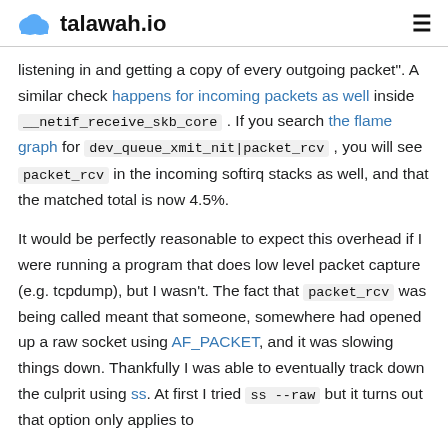talawah.io
listening in and getting a copy of every outgoing packet". A similar check happens for incoming packets as well inside __netif_receive_skb_core . If you search the flame graph for dev_queue_xmit_nit|packet_rcv , you will see packet_rcv in the incoming softirq stacks as well, and that the matched total is now 4.5%.
It would be perfectly reasonable to expect this overhead if I were running a program that does low level packet capture (e.g. tcpdump), but I wasn't. The fact that packet_rcv was being called meant that someone, somewhere had opened up a raw socket using AF_PACKET, and it was slowing things down. Thankfully I was able to eventually track down the culprit using ss. At first I tried ss --raw but it turns out that option only applies to